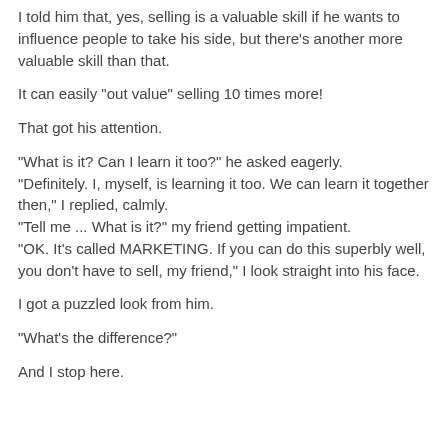I told him that, yes, selling is a valuable skill if he wants to influence people to take his side, but there's another more valuable skill than that.
It can easily "out value" selling 10 times more!
That got his attention.
"What is it? Can I learn it too?" he asked eagerly. "Definitely. I, myself, is learning it too. We can learn it together then," I replied, calmly. "Tell me ... What is it?" my friend getting impatient. "OK. It's called MARKETING. If you can do this superbly well, you don't have to sell, my friend," I look straight into his face.
I got a puzzled look from him.
"What's the difference?"
And I stop here.